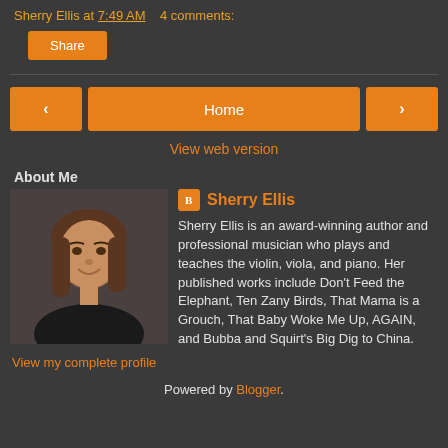Sherry Ellis at 7:49 AM   4 comments:
Share
< Home >
View web version
About Me
[Figure (photo): Profile photo of Sherry Ellis, a woman with brown hair]
Sherry Ellis — Sherry Ellis is an award-winning author and professional musician who plays and teaches the violin, viola, and piano. Her published works include Don't Feed the Elephant, Ten Zany Birds, That Mama is a Grouch, That Baby Woke Me Up, AGAIN, and Bubba and Squirt's Big Dig to China.
View my complete profile
Powered by Blogger.